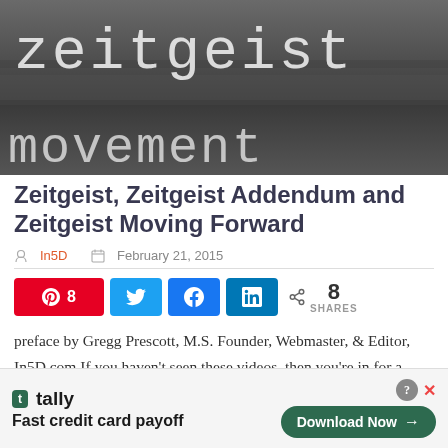[Figure (photo): Dark chalkboard-style banner image with the text 'zeitgeist' on top and 'movement' on the bottom in light monospace font]
Zeitgeist, Zeitgeist Addendum and Zeitgeist Moving Forward
In5D  February 21, 2015
[Figure (infographic): Social share buttons row: Pinterest (8), Twitter, Facebook, LinkedIn, and share count showing 8 SHARES]
preface by Gregg Prescott, M.S. Founder, Webmaster, & Editor, In5D.com If you haven't seen these videos, then you're in for a treat. Similar to Esoteric Agenda, the Zeitgeist series
[Figure (infographic): Tally advertisement banner: 'Fast credit card payoff' with a Download Now button]